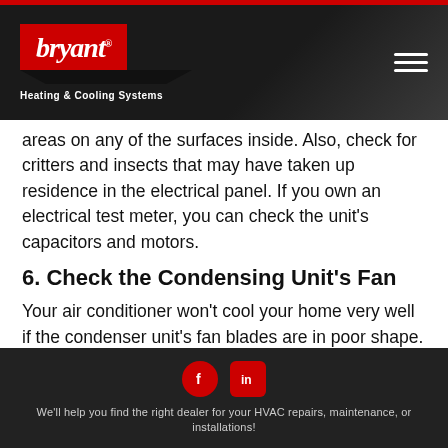bryant Heating & Cooling Systems
areas on any of the surfaces inside. Also, check for critters and insects that may have taken up residence in the electrical panel. If you own an electrical test meter, you can check the unit’s capacitors and motors.
6. Check the Condensing Unit’s Fan
Your air conditioner won’t cool your home very well if the condenser unit’s fan blades are in poor shape. They could cause damage to the motor bearings, wiring, or piping components inside the unit. That’s why it’s important to know their condition.
We’ll help you find the right dealer for your HVAC repairs, maintenance, or installations!